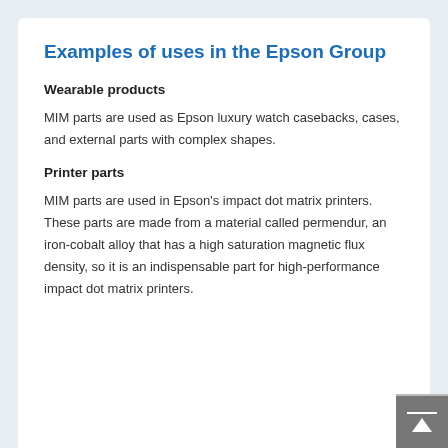Examples of uses in the Epson Group
Wearable products
MIM parts are used as Epson luxury watch casebacks, cases, and external parts with complex shapes.
Printer parts
MIM parts are used in Epson's impact dot matrix printers. These parts are made from a material called permendur, an iron-cobalt alloy that has a high saturation magnetic flux density, so it is an indispensable part for high-performance impact dot matrix printers.